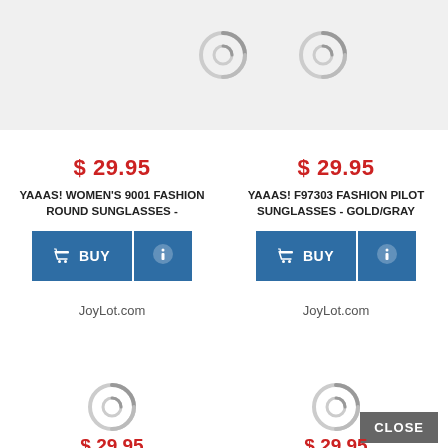[Figure (other): Loading spinner (circular progress indicator) top left]
[Figure (other): Loading spinner (circular progress indicator) top right]
$ 29.95
YAAAS! WOMEN'S 9001 FASHION ROUND SUNGLASSES -
[Figure (other): BUY button with shopping cart icon and info button]
JoyLot.com
$ 29.95
YAAAS! F97303 FASHION PILOT SUNGLASSES - GOLD/GRAY
[Figure (other): BUY button with shopping cart icon and info button]
JoyLot.com
[Figure (other): Loading spinner (circular progress indicator) bottom left]
[Figure (other): Loading spinner (circular progress indicator) bottom right]
CLOSE
$ 29.95
$ 29.95